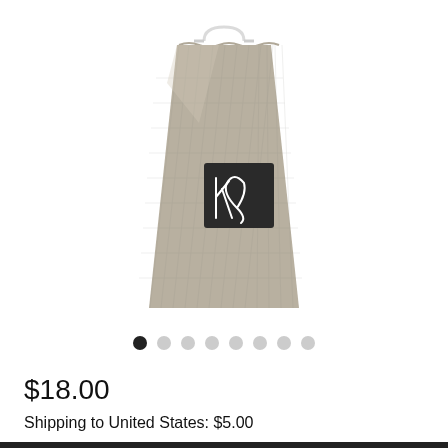[Figure (photo): A woven/burlap-textured grey gift bag with a black square label bearing a stylized white 'kb' logo, with a clear plastic handle at the top.]
● ○ ○ ○ ○ ○ ○ ○
$18.00
Shipping to United States: $5.00